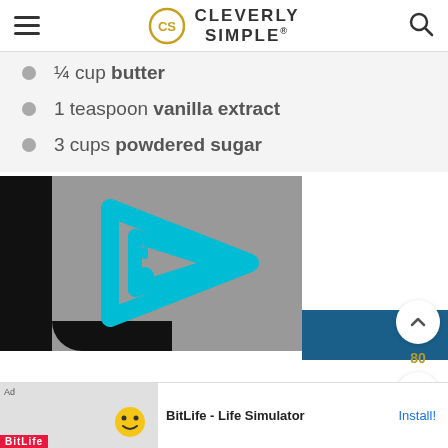Cleverly Simple®
¼ cup butter
1 teaspoon vanilla extract
3 cups powdered sugar
[Figure (screenshot): Video player showing cyan/blue play button logo on gray background with black bars]
[Figure (screenshot): Teal advertisement block with ad icon]
[Figure (screenshot): BitLife Life Simulator advertisement banner at bottom]